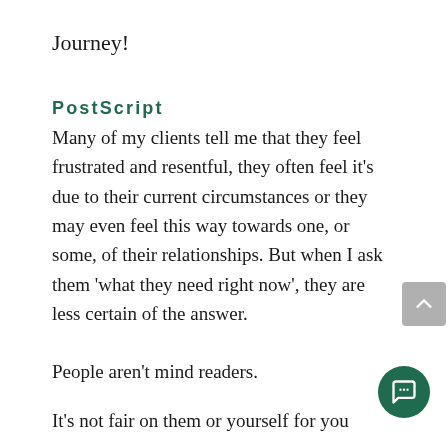Journey!
PostScript
Many of my clients tell me that they feel frustrated and resentful, they often feel it's due to their current circumstances or they may even feel this way towards one, or some, of their relationships. But when I ask them ‘what they need right now’, they are less certain of the answer.
People aren’t mind readers.
It’s not fair on them or yourself for you